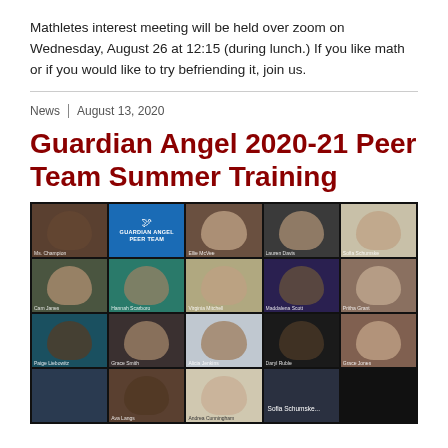Mathletes interest meeting will be held over zoom on Wednesday, August 26 at 12:15 (during lunch.) If you like math or if you would like to try befriending it, join us.
News  |  August 13, 2020
Guardian Angel 2020-21 Peer Team Summer Training
[Figure (screenshot): Zoom meeting screenshot showing Guardian Angel Peer Team members in a grid of video tiles. The top-left tile shows a person labeled Ms. Champion, the second tile shows the Guardian Angel Peer Team logo with wings, and other tiles show various female students. One tile in the bottom row shows the name Sofia Schumske...]